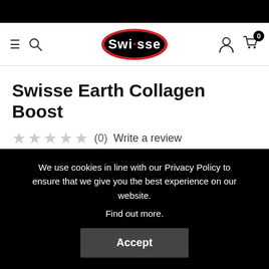Swisse logo navigation header with hamburger menu, search icon, Swisse logo, user icon, and cart with 0 items
Swisse Earth Collagen Boost
★★★★★ (0) Write a review
We use cookies in line with our Privacy Policy to ensure that we give you the best experience on our website.
Find out more.
Accept